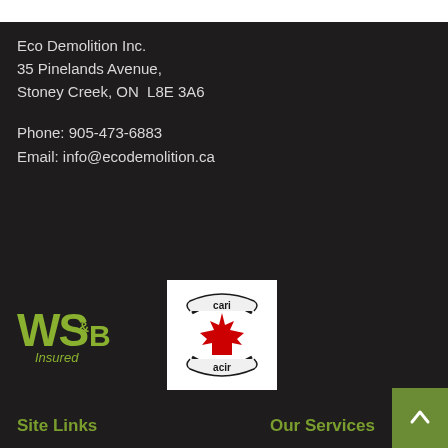Eco Demolition Inc.
35 Pinelands Avenue,
Stoney Creek, ON  L8E 3A6
Phone: 905-473-6883
Email: info@ecodemolition.ca
[Figure (logo): WSIB Insured logo in olive green]
[Figure (logo): CARI/ACIR Canadian Association for Renewable Industries logo with maple leaf]
Site Links
Our Services